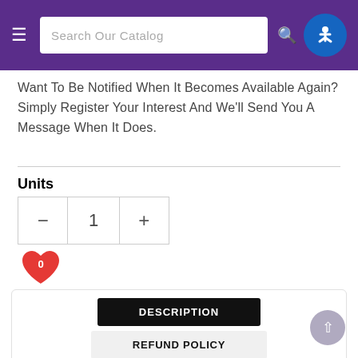Search Our Catalog
Want To Be Notified When It Becomes Available Again? Simply Register Your Interest And We'll Send You A Message When It Does.
Units
- 1 +
0
DESCRIPTION
REFUND POLICY
THIS BOOK IS NOT WHAT IT SEEMS
This is no ordinary book. There are monsters inside! Yes, you got that right. Monsters exist and live with